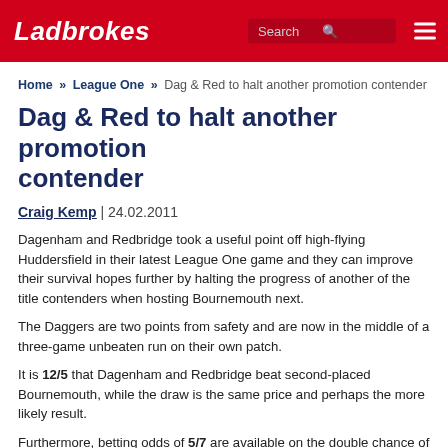Ladbrokes
Home » League One » Dag & Red to halt another promotion contender
Dag & Red to halt another promotion contender
Craig Kemp | 24.02.2011
Dagenham and Redbridge took a useful point off high-flying Huddersfield in their latest League One game and they can improve their survival hopes further by halting the progress of another of the title contenders when hosting Bournemouth next.
The Daggers are two points from safety and are now in the middle of a three-game unbeaten run on their own patch.
It is 12/5 that Dagenham and Redbridge beat second-placed Bournemouth, while the draw is the same price and perhaps the more likely result.
Furthermore, betting odds of 5/7 are available on the double chance of Dagenham and Redbridge either winning or drawing.